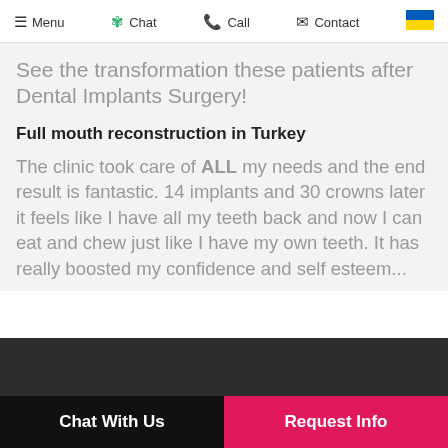Menu  Chat  Call  Contact
See the transformation these patients after Dental Implants Surgery!
Full mouth reconstruction in Turkey
The clinic took care of ALL my needs and the end result is fantastic. 14 implants and 30 crowns later it feels like I have all my teeth back and now I can eat and chew just like I have my own teeth. It has really boosted my confidence and self esteem...
Chat With Us   Request Info